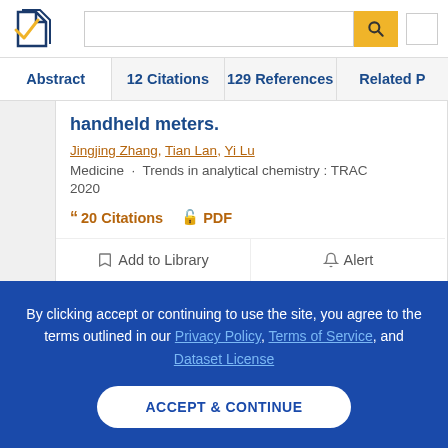Semantic Scholar — search bar header with logo, search input, and search button
Abstract | 12 Citations | 129 References | Related P
handheld meters.
Jingjing Zhang, Tian Lan, Yi Lu
Medicine · Trends in analytical chemistry : TRAC 2020
20 Citations   PDF
Add to Library   Alert
By clicking accept or continuing to use the site, you agree to the terms outlined in our Privacy Policy, Terms of Service, and Dataset License
ACCEPT & CONTINUE